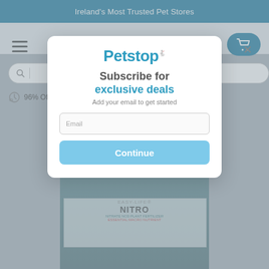Ireland's Most Trusted Pet Stores
[Figure (screenshot): Petstop pet store website with modal popup for newsletter subscription. Background shows navigation bar with hamburger menu, Petstop logo, search bar, cart button, and a product image (Easy-Life Nitro Nitrate NO3 Plant Fertilizer bottle). A modal overlay shows a subscription form with title 'Subscribe for exclusive deals', subtitle 'Add your email to get started', an email input field, and a Continue button.]
96% Of Orders Are Delivered Next Day
Subscribe for exclusive deals
Add your email to get started
Email
Continue